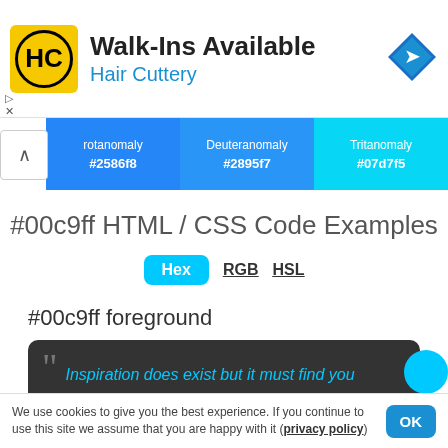[Figure (screenshot): Hair Cuttery ad banner with logo, 'Walk-Ins Available' heading, and navigation arrow icon]
| Protanomaly | Deuteranomaly | Tritanomaly |
| --- | --- | --- |
| #2586f8 | #2895f7 | #07d7f5 |
#00c9ff HTML / CSS Code Examples
Hex  RGB  HSL
#00c9ff foreground
"Inspiration does exist but it must find you
We use cookies to give you the best experience. If you continue to use this site we assume that you are happy with it (privacy policy)